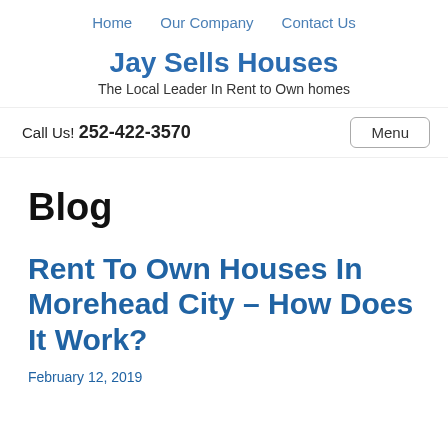Home   Our Company   Contact Us
Jay Sells Houses
The Local Leader In Rent to Own homes
Call Us! 252-422-3570
Blog
Rent To Own Houses In Morehead City – How Does It Work?
February 12, 2019